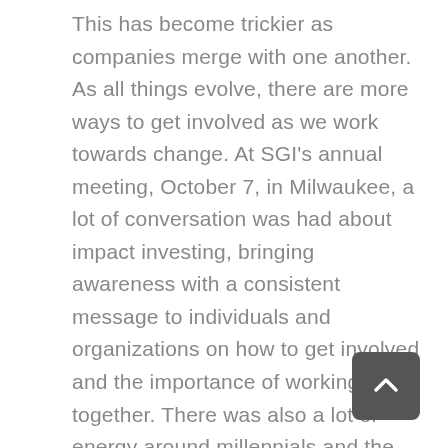This has become trickier as companies merge with one another. As all things evolve, there are more ways to get involved as we work towards change. At SGI's annual meeting, October 7, in Milwaukee, a lot of conversation was had about impact investing, bringing awareness with a consistent message to individuals and organizations on how to get involved and the importance of working together. There was also a lot of energy around millennials and the way they are engaging change organically. The conversation was stimulating and we were blessed to have seasoned attendees Sister Lynn Marie Welbig and Kendall Kliewer attending on behalf of Avera.  In addition, three new Presentation People attended the meeting. Sister Pegge Boehm, Jan Lenz and Brooke Grote witnessed to the call of our Presentation